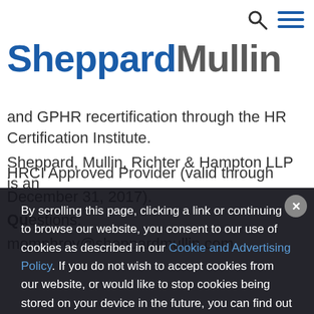SheppardMullin
and GPHR recertification through the HR Certification Institute.
Sheppard, Mullin, Richter & Hampton LLP is an HRCI Approved Provider (valid through December 31, 2017).
Questions: momphroy@sheppardmullin.com
By scrolling this page, clicking a link or continuing to browse our website, you consent to our use of cookies as described in our Cookie and Advertising Policy. If you do not wish to accept cookies from our website, or would like to stop cookies being stored on your device in the future, you can find out more and adjust your preferences here.